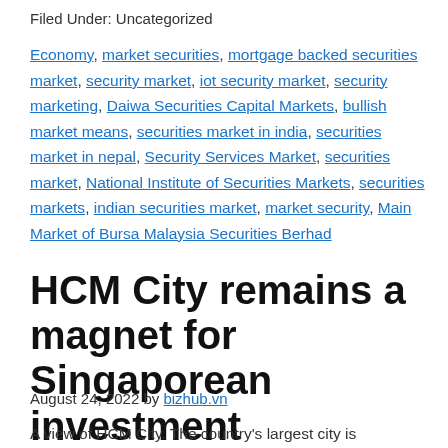Filed Under: Uncategorized
Economy, market securities, mortgage backed securities market, security market, iot security market, security marketing, Daiwa Securities Capital Markets, bullish market means, securities market in india, securities market in nepal, Security Services Market, securities market, National Institute of Securities Markets, securities markets, indian securities market, market security, Main Market of Bursa Malaysia Securities Berhad
HCM City remains a magnet for Singaporean investment
August 24, 2022 by bizhub.vn
A view of HCM City. The country's largest city is